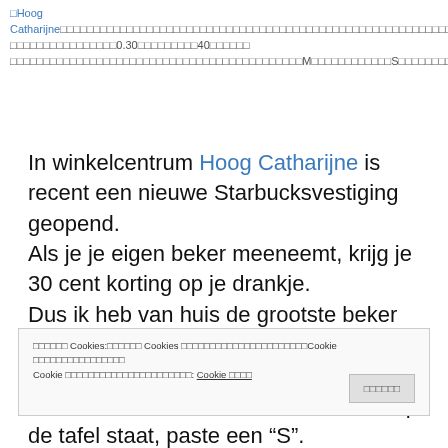□Hoog Catharijne□□□□□□□□□□□□□□□□□□□□□□□□□□□□□□□□□□□□□□□□□□□□□□□□□□□□□□□□□□□□0.30□□□□□□□□□40□□□□□□□□□□□□□□□□□□□□□□□□□□□□□□□□□□□□□□□□□□□□□□□□□□□□M□□□□□□□□□□□□S□□□□□□□□
In winkelcentrum Hoog Catharijne is recent een nieuwe Starbucksvestiging geopend.
Als je je eigen beker meeneemt, krijg je 30 cent korting op je drankje.
Dus ik heb van huis de grootste beker meegenomen die we hadden, en dat was het Heinekenglas. Hier paste een “M” in. In de mooie beker die ernaast op de tafel staat, paste een “S”.
□□□□□□ Cookies:□□□□□□ Cookies □□□□□□□□□□□□□□□□□□□□□□Cookie □□□□□□□□□□□□□□□□Cookie □□□□□□□□□□□□□□□□□□□□□□: Cookie □□□□
□□□□□□